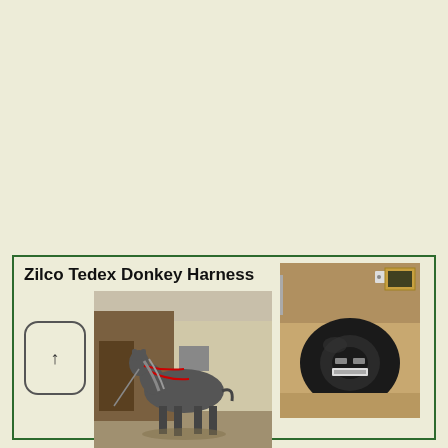Zilco Tedex Donkey Harness
[Figure (photo): Photo of a miniature donkey wearing a harness, standing outdoors on a paved area with a wooden structure in the background.]
[Figure (photo): Photo of a black padded donkey harness/collar laid flat on a surface, showing inside padding and buckles.]